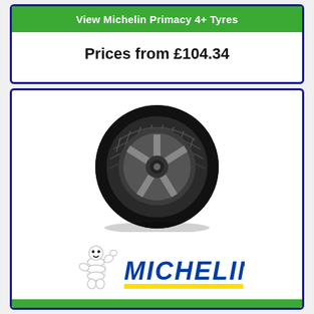View Michelin Primacy 4+ Tyres
Prices from £104.34
[Figure (photo): Michelin tyre (Primacy All Season) shown at an angle with dark alloy wheel]
[Figure (logo): Michelin logo with Bibendum mascot waving and yellow underline bar]
Primacy All Season